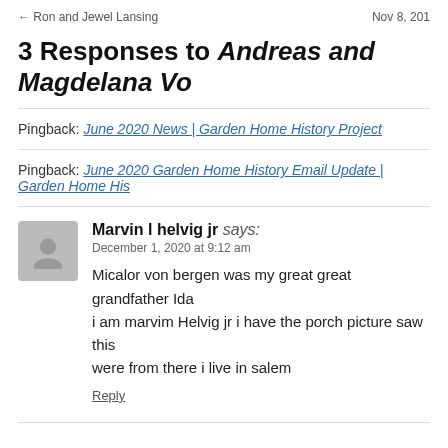← Ron and Jewel Lansing    Nov 8, 201
3 Responses to Andreas and Magdelana Vo
Pingback: June 2020 News | Garden Home History Project
Pingback: June 2020 Garden Home History Email Update | Garden Home His
Marvin l helvig jr says:
December 1, 2020 at 9:12 am

Micalor von bergen was my great great grandfather Ida i am marvim Helvig jr i have the porch picture saw this were from there i live in salem

Reply